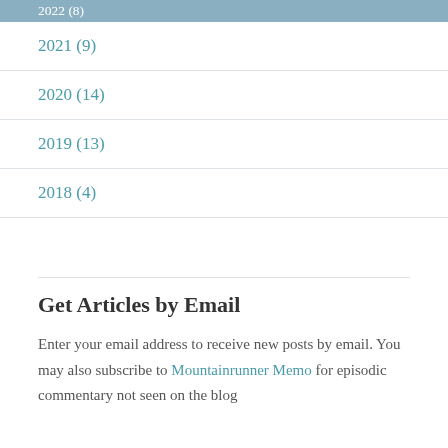2022 (8)
2021 (9)
2020 (14)
2019 (13)
2018 (4)
Get Articles by Email
Enter your email address to receive new posts by email. You may also subscribe to Mountainrunner Memo for episodic commentary not seen on the blog